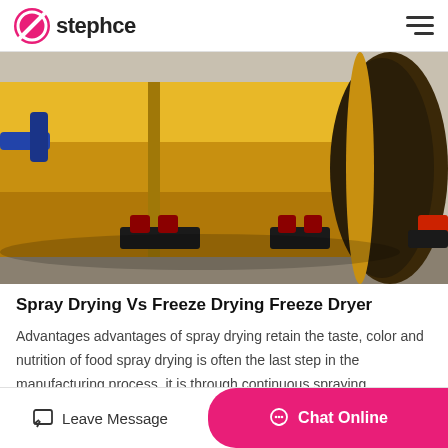stephce
[Figure (photo): Large yellow industrial rotary drum dryer machine resting on black support rollers on a factory floor, viewed from end showing the large circular opening.]
Spray Drying Vs Freeze Drying Freeze Dryer
Advantages advantages of spray drying retain the taste, color and nutrition of food spray drying is often the last step in the manufacturing process. it is through continuous spraying,….